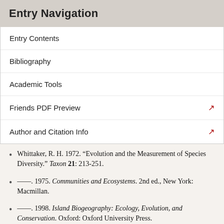Entry Navigation
Entry Contents
Bibliography
Academic Tools
Friends PDF Preview
Author and Citation Info
Whittaker, R. H. 1972. “Evolution and the Measurement of Species Diversity.” Taxon 21: 213-251.
——. 1975. Communities and Ecosystems. 2nd ed., New York: Macmillan.
——. 1998. Island Biogeography: Ecology, Evolution, and Conservation. Oxford: Oxford University Press.
Wilson, E. O. and Willis, E. O. 1975. “Applied Biogeography.” In Cody, M. L. and Diamond, J. M